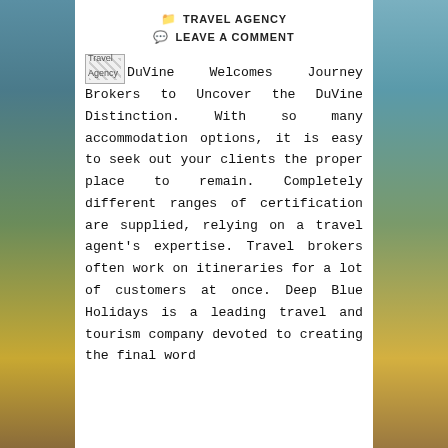TRAVEL AGENCY
LEAVE A COMMENT
Travel Agency DuVine Welcomes Journey Brokers to Uncover the DuVine Distinction. With so many accommodation options, it is easy to seek out your clients the proper place to remain. Completely different ranges of certification are supplied, relying on a travel agent's expertise. Travel brokers often work on itineraries for a lot of customers at once. Deep Blue Holidays is a leading travel and tourism company devoted to creating the final word